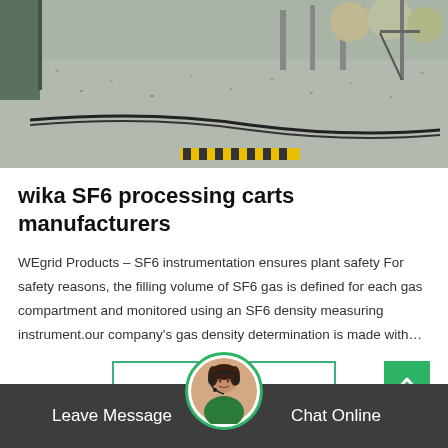[Figure (photo): Outdoor industrial gas yard facility with gravel ground, cables/hoses running across the surface, yellow safety markings, metal structures and spherical tanks in the background.]
wika SF6 processing carts manufacturers
WEgrid Products – SF6 instrumentation ensures plant safety For safety reasons, the filling volume of SF6 gas is defined for each gas compartment and monitored using an SF6 density measuring instrument.our company's gas density determination is made with…
Get Price
Leave Message   Chat Online